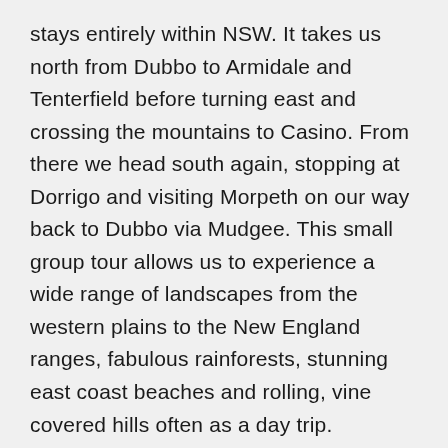stays entirely within NSW. It takes us north from Dubbo to Armidale and Tenterfield before turning east and crossing the mountains to Casino. From there we head south again, stopping at Dorrigo and visiting Morpeth on our way back to Dubbo via Mudgee. This small group tour allows us to experience a wide range of landscapes from the western plains to the New England ranges, fabulous rainforests, stunning east coast beaches and rolling, vine covered hills often as a day trip.
There are historic houses and towns to explore, and gourmet food to enjoy to make for a great holiday with fellow travelers. There will also be opportunities for bush walking in some of Australia's most spectacular National Parks. NSW has much to offer the mature and